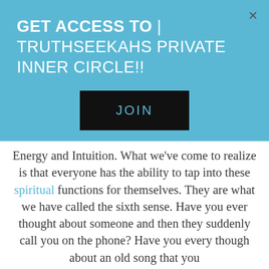GET ACCESS TO | TRUTHSEEKAHS PRIVATE INNER CIRCLE!!
[Figure (other): Black JOIN button with teal text on blue background banner]
Energy and Intuition. What we've come to realize is that everyone has the ability to tap into these spiritual functions for themselves. They are what we have called the sixth sense. Have you ever thought about someone and then they suddenly call you on the phone? Have you every though about an old song that you